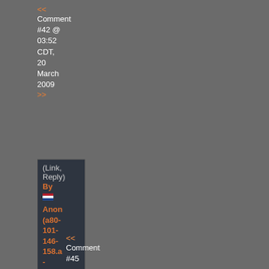<< Comment #42 @ 03:52 CDT, 20 March 2009
>>
(Link, Reply)
By Anon (a80-101-146-158.a - Reply to #39
you fuckin stuut yes or no
<< Comment #45